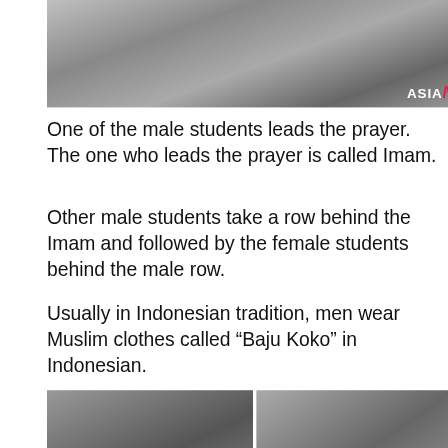[Figure (photo): Students standing in rows for prayer, viewed from the side. ASIaN watermark in bottom right corner.]
One of the male students leads the prayer. The one who leads the prayer is called Imam.
Other male students take a row behind the Imam and followed by the female students behind the male row.
Usually in Indonesian tradition, men wear Muslim clothes called “Baju Koko” in Indonesian.
[Figure (photo): Two side-by-side photos of students bowing in prayer (sujud). ASIaN watermark in bottom right corner of right photo.]
The prayer clothes that the female student wears are a set of clothes female Muslims wear when they do “sholat” or